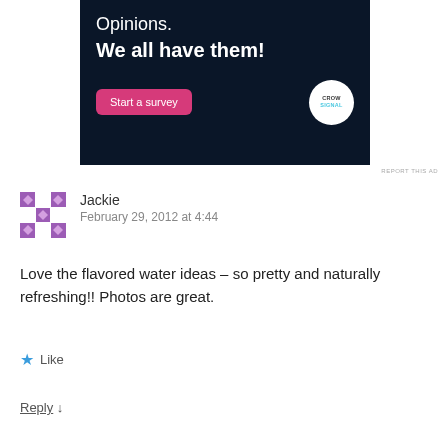[Figure (illustration): Advertisement banner with dark navy background. Text reads 'Opinions. We all have them!' with a pink 'Start a survey' button and CrowdSignal logo circle on the right.]
REPORT THIS AD
Jackie
February 29, 2012 at 4:44
Love the flavored water ideas – so pretty and naturally refreshing!! Photos are great.
Like
Reply ↓